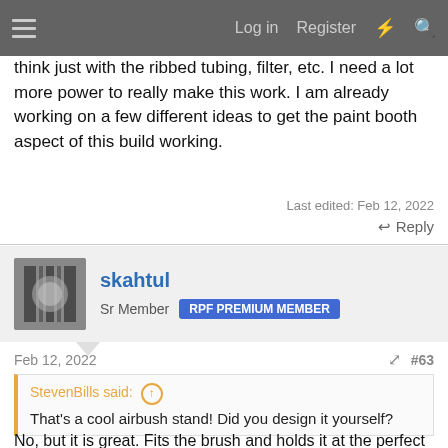Log in  Register
think just with the ribbed tubing, filter, etc. I need a lot more power to really make this work. I am already working on a few different ideas to get the paint booth aspect of this build working.
Last edited: Feb 12, 2022
Reply
skahtul
Sr Member  RPF PREMIUM MEMBER
Feb 12, 2022  #63
StevenBills said:
That's a cool airbush stand! Did you design it yourself?
No, but it is great. Fits the brush and holds it at the perfect angle. It's also a single print with no supports: